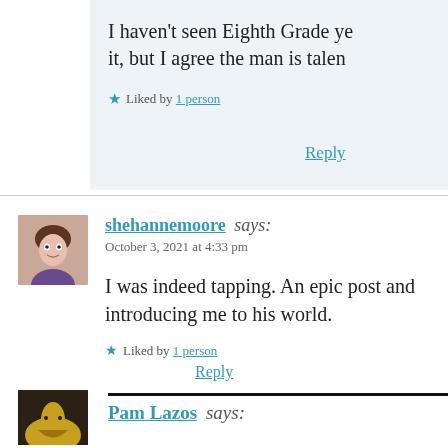I haven't seen Eighth Grade yet. I plan to watch it, but I agree the man is talented.
Liked by 1 person
Reply
shehannemoore says:
October 3, 2021 at 4:33 pm
I was indeed tapping. An epic post and thanks for introducing me to his world.
Liked by 1 person
Reply
Pam Lazos says: